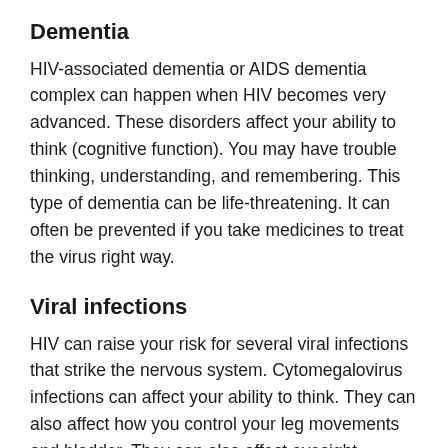Dementia
HIV-associated dementia or AIDS dementia complex can happen when HIV becomes very advanced. These disorders affect your ability to think (cognitive function). You may have trouble thinking, understanding, and remembering. This type of dementia can be life-threatening. It can often be prevented if you take medicines to treat the virus right way.
Viral infections
HIV can raise your risk for several viral infections that strike the nervous system. Cytomegalovirus infections can affect your ability to think. They can also affect how you control your leg movements and bladder. They can also affect eyesight, hearing, and breathing, and cause pneumonia. People with AIDS are also likely to have other infections with the virus. The